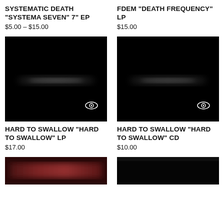SYSTEMATIC DEATH "SYSTEMA SEVEN" 7" EP
$5.00 – $15.00
FDEM "DEATH FREQUENCY" LP
$15.00
[Figure (photo): Album cover: mostly black with faint blurred white text in the center and a small eye icon in the bottom right corner]
[Figure (photo): Album cover: mostly black with faint blurred white text in the center and a small eye icon in the bottom right corner]
HARD TO SWALLOW "HARD TO SWALLOW" LP
$17.00
HARD TO SWALLOW "HARD TO SWALLOW" CD
$10.00
[Figure (photo): Album cover: blurred reddish/pink tones with indistinct text]
[Figure (photo): Album cover: mostly black with slight texture at top]